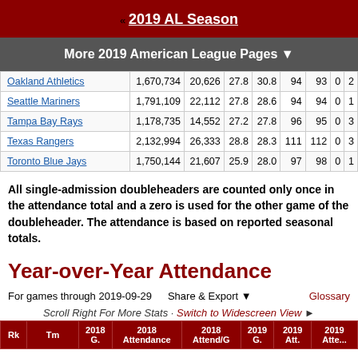« 2019 AL Season
More 2019 American League Pages ▼
| Team | Attendance | Attend/G | Col1 | Col2 | Col3 | Col4 | Col5 | Col6 |
| --- | --- | --- | --- | --- | --- | --- | --- | --- |
| Oakland Athletics | 1,670,734 | 20,626 | 27.8 | 30.8 | 94 | 93 | 0 | 2 |
| Seattle Mariners | 1,791,109 | 22,112 | 27.8 | 28.6 | 94 | 94 | 0 | 1 |
| Tampa Bay Rays | 1,178,735 | 14,552 | 27.2 | 27.8 | 96 | 95 | 0 | 3 |
| Texas Rangers | 2,132,994 | 26,333 | 28.8 | 28.3 | 111 | 112 | 0 | 3 |
| Toronto Blue Jays | 1,750,144 | 21,607 | 25.9 | 28.0 | 97 | 98 | 0 | 1 |
All single-admission doubleheaders are counted only once in the attendance total and a zero is used for the other game of the doubleheader. The attendance is based on reported seasonal totals.
Year-over-Year Attendance
For games through 2019-09-29    Share & Export ▼    Glossary
Scroll Right For More Stats · Switch to Widescreen View ►
| Rk | Tm | 2018 G | 2018 Attendance | 2018 Attend/G | 2019 G | 2019 Att. | 2019 Atte... |
| --- | --- | --- | --- | --- | --- | --- | --- |